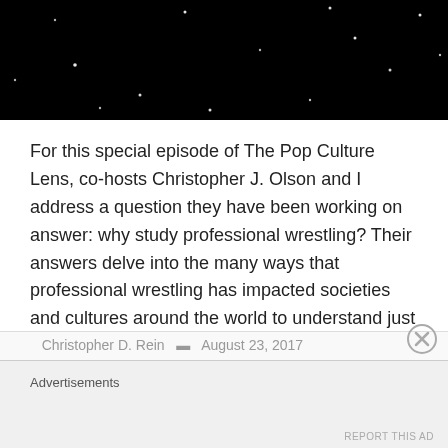[Figure (photo): Dark black background with scattered white dots resembling stars]
For this special episode of The Pop Culture Lens, co-hosts Christopher J. Olson and I address a question they have been working on answer: why study professional wrestling? Their answers delve into the many ways that professional wrestling has impacted societies and cultures around the world to understand just how important pro-wrestling is. From the WWE [...]
Advertisements